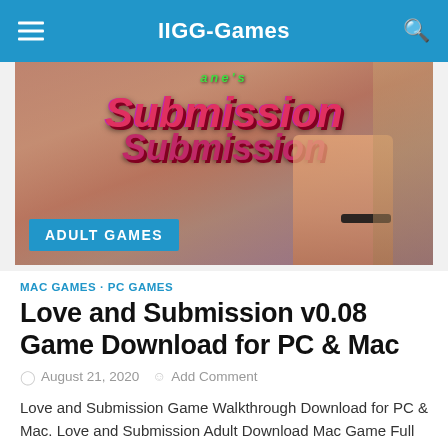IIGG-Games
[Figure (illustration): Game banner image for Love and Submission showing stylized graffiti text with 'Submission' in pink/red colors on a warm background, with an 'ADULT GAMES' blue badge in the lower left corner]
MAC GAMES · PC GAMES
Love and Submission v0.08 Game Download for PC & Mac
August 21, 2020  Add Comment
Love and Submission Game Walkthrough Download for PC & Mac. Love and Submission Adult Download Mac Game Full Version via direct